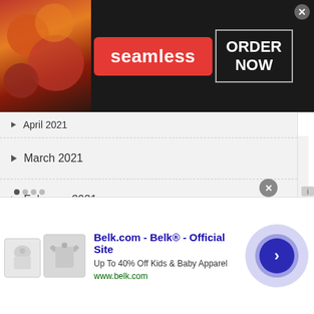[Figure (screenshot): Seamless food delivery ad banner with pizza image, red Seamless logo, and ORDER NOW button]
April 2021
March 2021
February 2021
January 2021
December 2020
November 2020
October 2020
September 2020
August 2020
July 2020
[Figure (screenshot): Belk.com advertisement showing kids clothing with title Belk.com - Belk® - Official Site, Up To 40% Off Kids & Baby Apparel, www.belk.com]